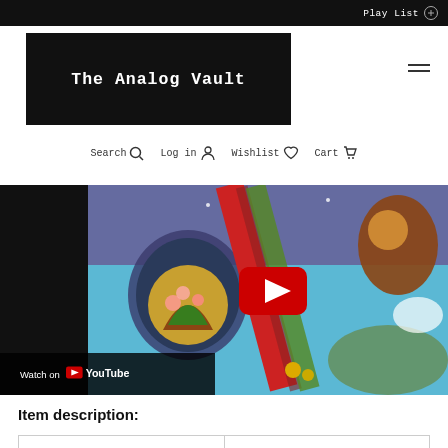Play List
The Analog Vault
Search  Log in  Wishlist  Cart
[Figure (screenshot): YouTube embedded video player showing colorful album artwork with a YouTube play button overlay and 'Watch on YouTube' label at the bottom left]
Item description: